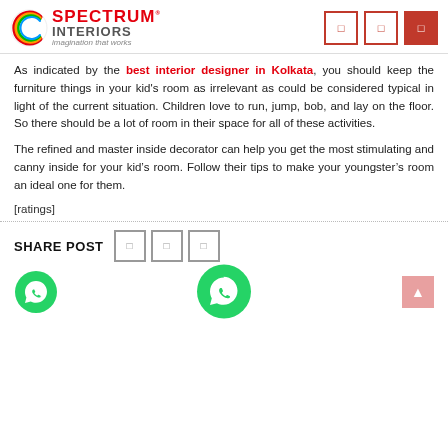[Figure (logo): Spectrum Interiors logo with rainbow-colored C icon and text 'SPECTRUM INTERIORS - imagination that works']
As indicated by the best interior designer in Kolkata, you should keep the furniture things in your kid's room as irrelevant as could be considered typical in light of the current situation. Children love to run, jump, bob, and lay on the floor. So there should be a lot of room in their space for all of these activities.
The refined and master inside decorator can help you get the most stimulating and canny inside for your kid’s room. Follow their tips to make your youngster’s room an ideal one for them.
[ratings]
SHARE POST